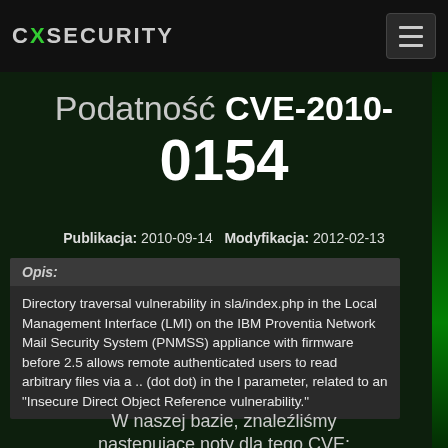CXSECURITY
Podatność CVE-2010-0154
Publikacja: 2010-09-14  Modyfikacja: 2012-02-13
Opis:
Directory traversal vulnerability in sla/index.php in the Local Management Interface (LMI) on the IBM Proventia Network Mail Security System (PNMSS) appliance with firmware before 2.5 allows remote authenticated users to read arbitrary files via a .. (dot dot) in the l parameter, related to an "Insecure Direct Object Reference vulnerability."
W naszej bazie, znaleźliśmy następujące noty dla tego CVE: